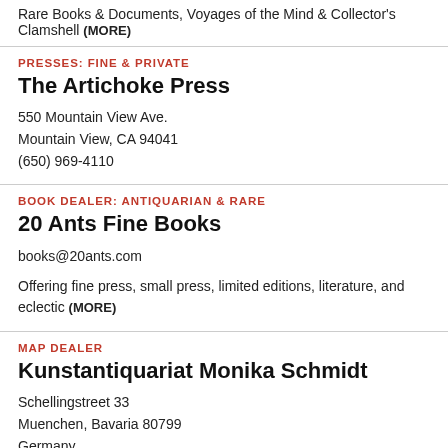Rare Books & Documents, Voyages of the Mind & Collector's Clamshell (MORE)
PRESSES: FINE & PRIVATE
The Artichoke Press
550 Mountain View Ave.
Mountain View, CA 94041
(650) 969-4110
BOOK DEALER: ANTIQUARIAN & RARE
20 Ants Fine Books
books@20ants.com
Offering fine press, small press, limited editions, literature, and eclectic (MORE)
MAP DEALER
Kunstantiquariat Monika Schmidt
Schellingstreet 33
Muenchen, Bavaria 80799
Germany
+49 89 284 223